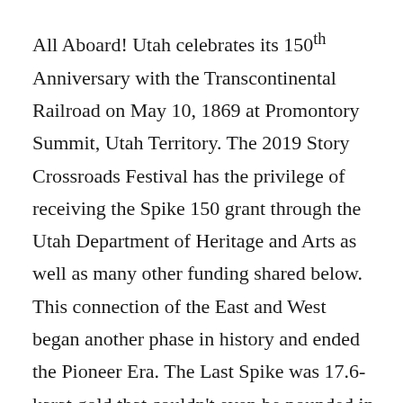All Aboard!  Utah celebrates its 150th Anniversary with the Transcontinental Railroad on May 10, 1869 at Promontory Summit, Utah Territory. The 2019 Story Crossroads Festival has the privilege of receiving the Spike 150 grant through the Utah Department of Heritage and Arts as well as many other funding shared below. This connection of the East and West began another phase in history and ended the Pioneer Era.  The Last Spike was 17.6-karat gold that couldn't even be pounded in despite Leland Stanford's efforts. The telegraph had to officially send out “DONE” for everyone to know around the world.
That golden spike brought about celebrations as well as traumatic changes. In one famous painting of the Transcontinental Railroad, a Native American is depicted turning away as this would change everything for tribes across the nation.  The coming of the trains meant the near extinction